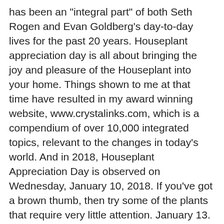has been an "integral part" of both Seth Rogen and Evan Goldberg's day-to-day lives for the past 20 years. Houseplant appreciation day is all about bringing the joy and pleasure of the Houseplant into your home. Things shown to me at that time have resulted in my award winning website, www.crystalinks.com, which is a compendium of over 10,000 integrated topics, relevant to the changes in today's world. And in 2018, Houseplant Appreciation Day is observed on Wednesday, January 10, 2018. If you've got a brown thumb, then try some of the plants that require very little attention. January 13. International Skeptics Day. I found a facebook-post saying that International Syrah Day was on Feb 16th. Take Your Houseplant For A Walk Day – July 27, 2020. by Sandeep | Jul 27, 2020 | Important Days in July, International Days, Take Your Houseplant For A Walk Day. © 2020 Days Of The Year. Dear Friends from the Management Consultantsâ World, It is already a